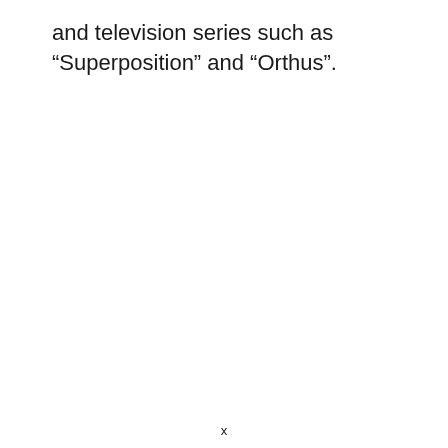and television series such as “Superposition” and “Orthus”.
x